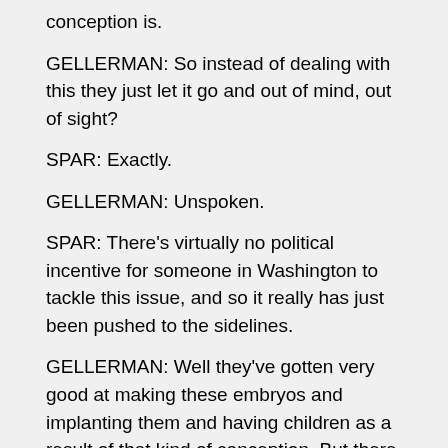conception is.
GELLERMAN: So instead of dealing with this they just let it go and out of mind, out of sight?
SPAR: Exactly.
GELLERMAN: Unspoken.
SPAR: There's virtually no political incentive for someone in Washington to tackle this issue, and so it really has just been pushed to the sidelines.
GELLERMAN: Well they've gotten very good at making these embryos and implanting them and having children as a result of that kind of conception. But there are then excess embryos.
SPAR: That's right. At the moment, the estimates say that there's 400,000 excess embryos in the United States